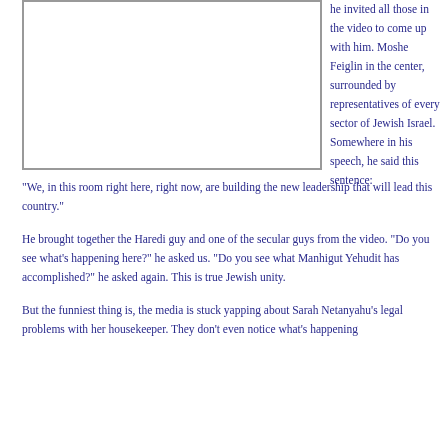[Figure (photo): Photo placeholder — image of Moshe Feiglin surrounded by representatives]
he invited all those in the video to come up with him. Moshe Feiglin in the center, surrounded by representatives of every sector of Jewish Israel. Somewhere in his speech, he said this sentence:
"We, in this room right here, right now, are building the new leadership that will lead this country."
He brought together the Haredi guy and one of the secular guys from the video. "Do you see what's happening here?" he asked us. "Do you see what Manhigut Yehudit has accomplished?" he asked again. This is true Jewish unity.
But the funniest thing is, the media is stuck yapping about Sarah Netanyahu's legal problems with her housekeeper. They don't even notice what's happening